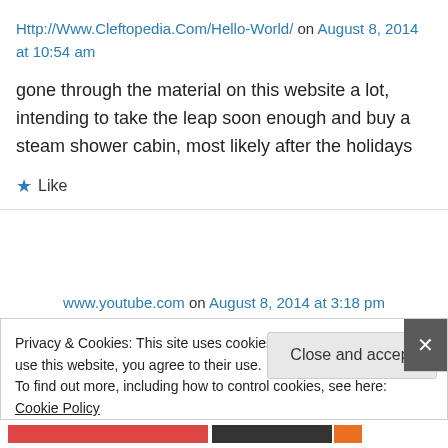Http://Www.Cleftopedia.Com/Hello-World/ on August 8, 2014 at 10:54 am
gone through the material on this website a lot, intending to take the leap soon enough and buy a steam shower cabin, most likely after the holidays
★ Like
www.youtube.com on August 8, 2014 at 3:18 pm
Privacy & Cookies: This site uses cookies. By continuing to use this website, you agree to their use. To find out more, including how to control cookies, see here: Cookie Policy
Close and accept